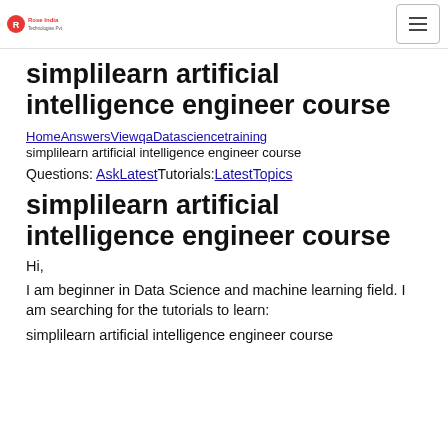Rose India Technologies | Navigation menu
simplilearn artificial intelligence engineer course
HomeAnswersViewqaDatasciencetraining simplilearn artificial intelligence engineer course
Questions: AskLatestTutorials:LatestTopics
simplilearn artificial intelligence engineer course
Hi,
I am beginner in Data Science and machine learning field. I am searching for the tutorials to learn:
simplilearn artificial intelligence engineer course